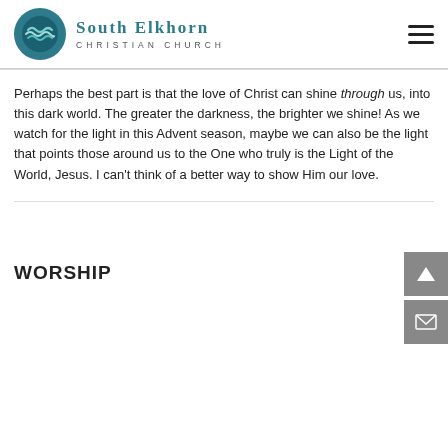[Figure (logo): South Elkhorn Christian Church logo with teal circular icon and text]
Perhaps the best part is that the love of Christ can shine through us, into this dark world. The greater the darkness, the brighter we shine! As we watch for the light in this Advent season, maybe we can also be the light that points those around us to the One who truly is the Light of the World, Jesus. I can't think of a better way to show Him our love.
WORSHIP